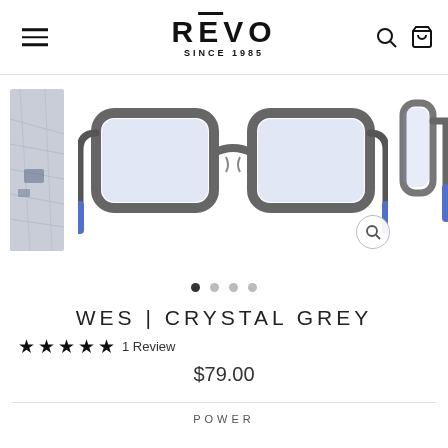[Figure (logo): REVO SINCE 1985 brand logo with hamburger menu icon on left and search/bag icons on right]
[Figure (photo): Product photo of Wes Crystal Grey eyeglasses - square grey frames with blue-tinted lenses, shown front-on with thumbnail on left and partial side view on right]
WES | CRYSTAL GREY
★★★★★ 1 Review
$79.00
POWER